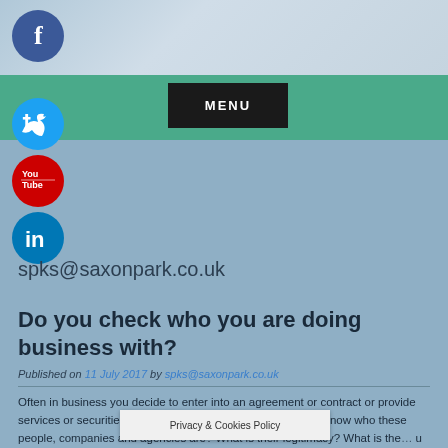MENU
[Figure (illustration): Social media icons column: Facebook (blue circle), Twitter (light blue circle), YouTube (red circle), LinkedIn (blue circle)]
spks@saxonpark.co.uk
Do you check who you are doing business with?
Published on 11 July 2017 by spks@saxonpark.co.uk
Often in business you decide to enter into an agreement or contract or provide services or securities with third parties. But how well do you know who these people, companies and agencies are? What is their legitimacy? What is the... you are told is not always the reality undoi...
Privacy & Cookies Policy